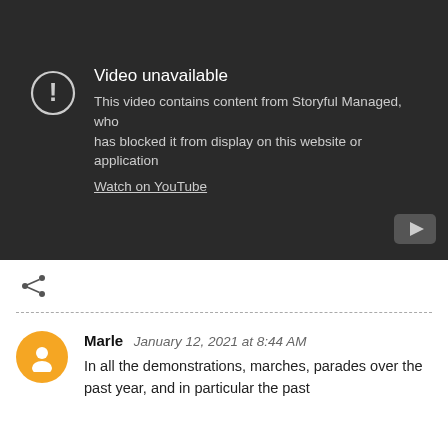[Figure (screenshot): YouTube video unavailable embed with dark background. Shows exclamation mark in circle icon, text 'Video unavailable', description 'This video contains content from Storyful Managed, who has blocked it from display on this website or application', and a 'Watch on YouTube' link. YouTube play button icon in bottom right corner.]
[Figure (other): Share icon (less-than symbol with dots) on white background]
Marle  January 12, 2021 at 8:44 AM
In all the demonstrations, marches, parades over the past year, and in particular the past